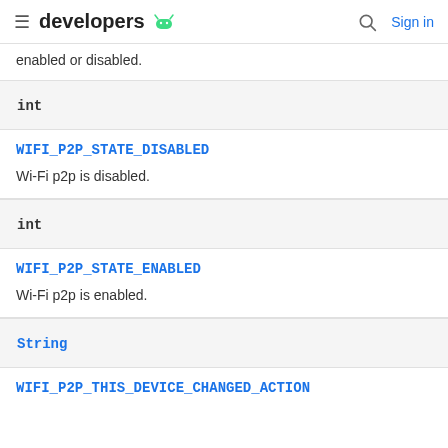developers [android logo] | Search | Sign in
enabled or disabled.
| int |
| --- |
WIFI_P2P_STATE_DISABLED
Wi-Fi p2p is disabled.
| int |
| --- |
WIFI_P2P_STATE_ENABLED
Wi-Fi p2p is enabled.
| String |
| --- |
WIFI_P2P_THIS_DEVICE_CHANGED_ACTION